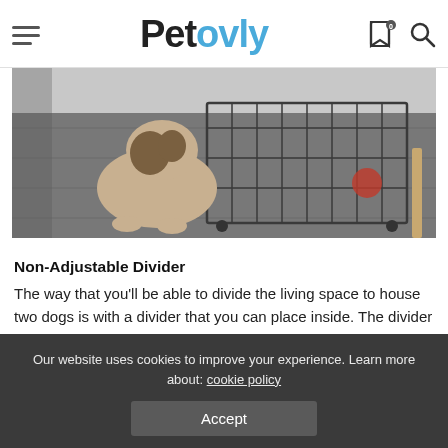Petovly
[Figure (photo): A dog sitting near a metal wire crate/cage on a wood floor in a room.]
Non-Adjustable Divider
The way that you'll be able to divide the living space to house two dogs is with a divider that you can place inside. The divider isn't adjustable so you can only get two living spaces that have the same dimensions. The two doors for each side of the crate can be locked with 2 slide bolt locks.
Our website uses cookies to improve your experience. Learn more about: cookie policy  Accept